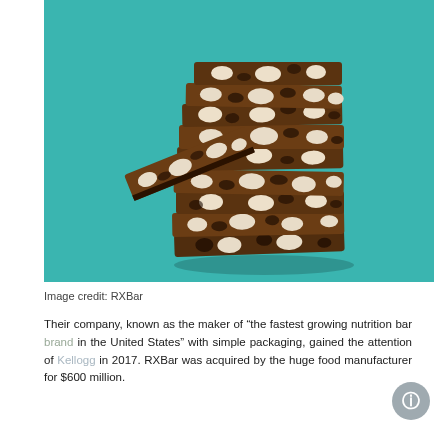[Figure (photo): A stack of chocolate almond protein bars (RXBar style) with whole almonds visible, stacked in a tower shape with one bar leaning against the side, set against a teal/turquoise background.]
Image credit: RXBar
Their company, known as the maker of “the fastest growing nutrition bar brand in the United States” with simple packaging, gained the attention of Kellogg in 2017. RXBar was acquired by the huge food manufacturer for $600 million.